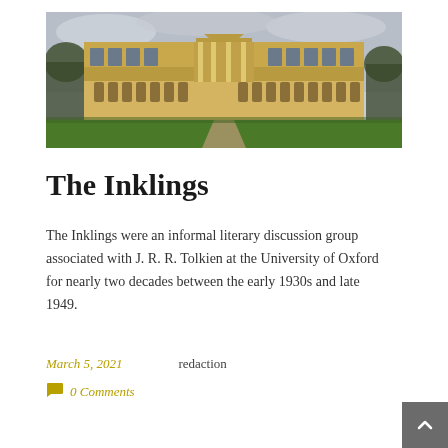[Figure (photo): Photograph of a large neoclassical building with yellow stone facade, tall arched windows, columned portico, and green lawn in the foreground — likely a University of Oxford college building.]
The Inklings
The Inklings were an informal literary discussion group associated with J. R. R. Tolkien at the University of Oxford for nearly two decades between the early 1930s and late 1949.
March 5, 2021    redaction
0 Comments